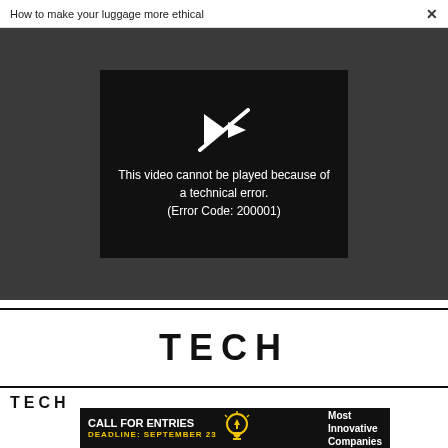How to make your luggage more ethical  ×
[Figure (screenshot): Video player error screen on dark grey background. Black video player box showing a broken play icon and text: 'This video cannot be played because of a technical error. (Error Code: 200001)']
TECH
TECH
[Figure (infographic): Advertisement banner: 'CALL FOR ENTRIES' with 'DEADLINE: SEPTEMBER 23' in yellow. Light bulb icon. Text: 'Most Innovative Companies']